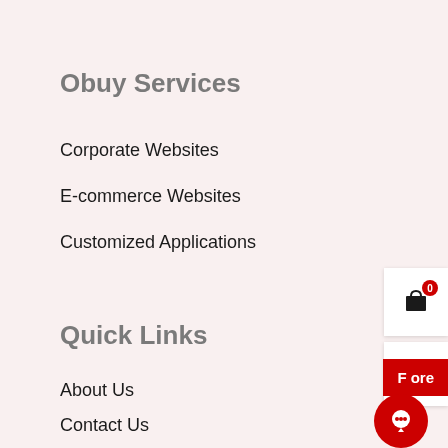Obuy Services
Corporate Websites
E-commerce Websites
Customized Applications
Quick Links
About Us
Contact Us
Terms & Conditions
Privacy Policy
Return & Refund Policy